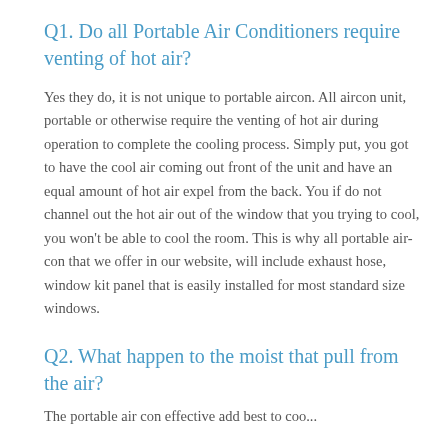Q1. Do all Portable Air Conditioners require venting of hot air?
Yes they do, it is not unique to portable aircon. All aircon unit, portable or otherwise require the venting of hot air during operation to complete the cooling process. Simply put, you got to have the cool air coming out front of the unit and have an equal amount of hot air expel from the back. You if do not channel out the hot air out of the window that you trying to cool, you won't be able to cool the room. This is why all portable air-con that we offer in our website, will include exhaust hose, window kit panel that is easily installed for most standard size windows.
Q2. What happen to the moist that pull from the air?
The portable air con...